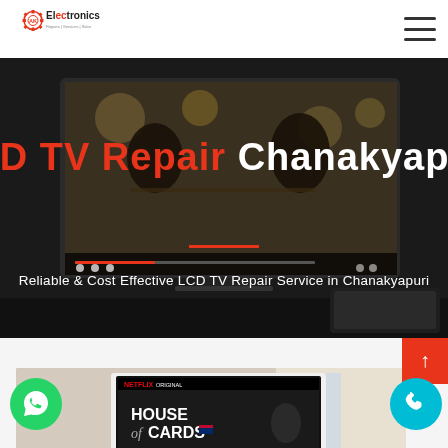[Figure (logo): AK Electronics logo with gear icon and tagline 'Repairs | Services | Solar']
[Figure (photo): Dark hero banner with a couple dining scene on a TV screen, showing LCD TV Repair Chanakyapuri heading]
LCD TV Repair Chanakyapuri
Reliable & Cost Effective LCD TV Repair Service in Chanakyapuri
[Figure (photo): Photo of a Samsung smart TV displaying Netflix House of Cards, with WhatsApp and phone call buttons overlaid]